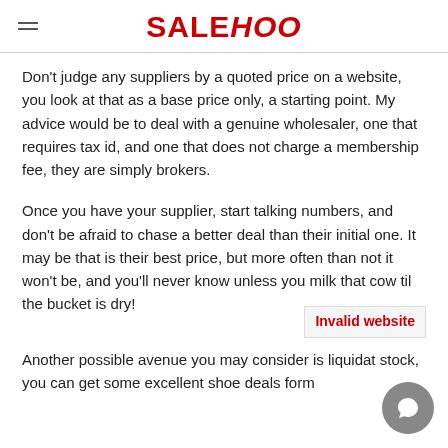SALEHOO
Don't judge any suppliers by a quoted price on a website, you look at that as a base price only, a starting point. My advice would be to deal with a genuine wholesaler, one that requires tax id, and one that does not charge a membership fee, they are simply brokers.
Once you have your supplier, start talking numbers, and don't be afraid to chase a better deal than their initial one. It may be that is their best price, but more often than not it won't be, and you'll never know unless you milk that cow til the bucket is dry!
Another possible avenue you may consider is liquidat stock, you can get some excellent shoe deals form